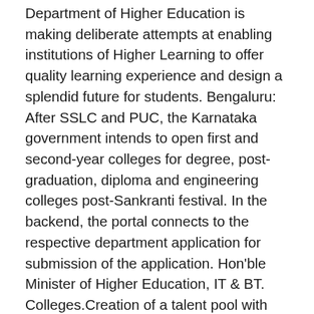Department of Higher Education is making deliberate attempts at enabling institutions of Higher Learning to offer quality learning experience and design a splendid future for students. Bengaluru: After SSLC and PUC, the Karnataka government intends to open first and second-year colleges for degree, post-graduation, diploma and engineering colleges post-Sankranti festival. In the backend, the portal connects to the respective department application for submission of the application. Hon'ble Minister of Higher Education, IT & BT. Colleges.Creation of a talent pool with broad knowledge base, appropriate skills and winsome attitude is the top priority of the Department. The situation of the college-education is yet to be decided by the education Minister of Karnataka. From, A two-time Corporator in the Bengaluru City Corporation, President of Bengaluru City BJP in (1988 to1990), Deputy leader of BJP counseling (1997 to 1999), Cabinet Minister...